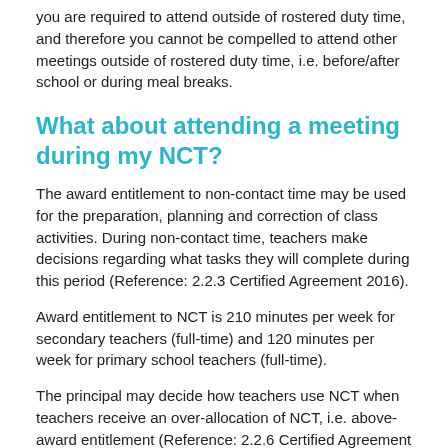you are required to attend outside of rostered duty time, and therefore you cannot be compelled to attend other meetings outside of rostered duty time, i.e. before/after school or during meal breaks.
What about attending a meeting during my NCT?
The award entitlement to non-contact time may be used for the preparation, planning and correction of class activities. During non-contact time, teachers make decisions regarding what tasks they will complete during this period (Reference: 2.2.3 Certified Agreement 2016).
Award entitlement to NCT is 210 minutes per week for secondary teachers (full-time) and 120 minutes per week for primary school teachers (full-time).
The principal may decide how teachers use NCT when teachers receive an over-allocation of NCT, i.e. above-award entitlement (Reference: 2.2.6 Certified Agreement 2016).
Our staff meeting is held on Tuesday